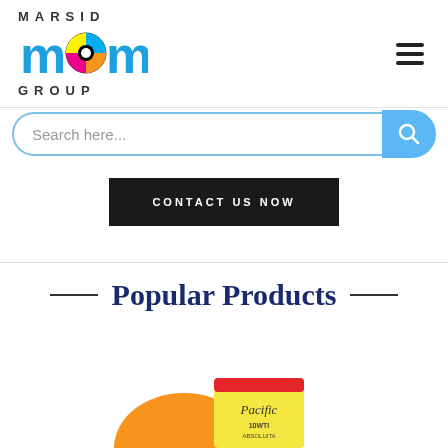[Figure (logo): Marsid M&M Group logo with MARSID text above, stylized M&M letters with CMYK circle icon in center, GROUP text below]
Search here...
CONTACT US NOW
Popular Products
[Figure (photo): Pacific paper product box, yellow and orange coloring, partially visible at bottom of page]